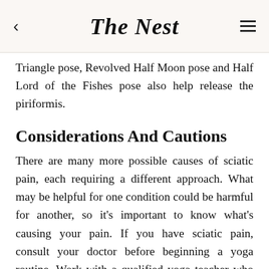The Nest
Triangle pose, Revolved Half Moon pose and Half Lord of the Fishes pose also help release the piriformis.
Considerations And Cautions
There are many more possible causes of sciatic pain, each requiring a different approach. What may be helpful for one condition could be harmful for another, so it's important to know what's causing your pain. If you have sciatic pain, consult your doctor before beginning a yoga routine. Work with a qualified yoga teacher who can help you modify your practice. Yoga styles that focus on alignment